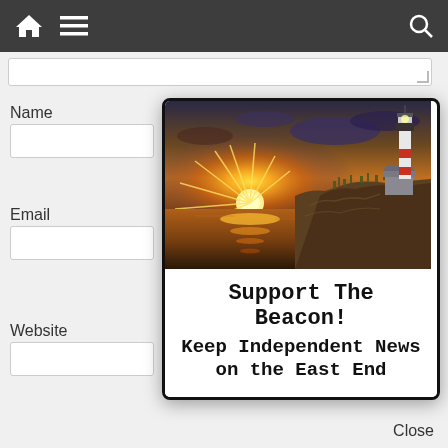[Figure (screenshot): Website screenshot showing a dark navigation bar with home icon, menu icon, and search icon. Below is a modal card popup containing a lighthouse sunset photo and text promoting The Beacon news publication.]
Name
Email
Website
[Figure (photo): Lighthouse at sunset on a rocky coastal cliff. Golden sun rays burst over the water on the left, a tall black-and-white striped lighthouse stands on the right against a dramatic sky.]
Support The Beacon!
Keep Independent News on the East End
Close